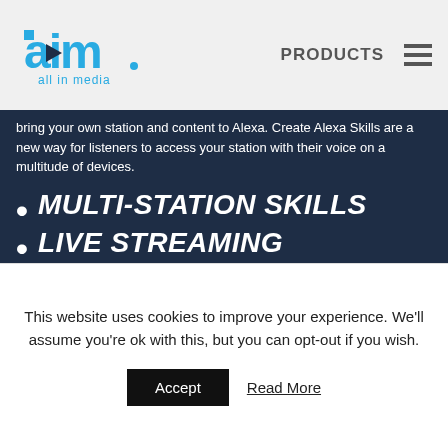[Figure (logo): AIM - all in media logo with blue text and play button icon]
PRODUCTS
bring your own station and content to Alexa. Create Alexa Skills are a new way for listeners to access your station with their voice on a multitude of devices.
MULTI-STATION SKILLS
LIVE STREAMING
ON DEMAND CONTENT
STATION SCHEDULE AND SONG READOUTS
This website uses cookies to improve your experience. We'll assume you're ok with this, but you can opt-out if you wish.
Accept
Read More